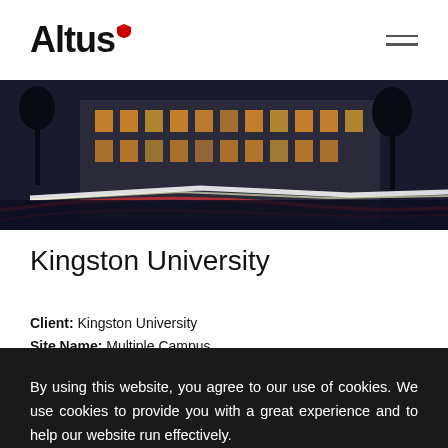Altus
[Figure (photo): Night-time photo of Kingston University building with light trails from passing vehicles]
Kingston University
Client: Kingston University
Site Name: Multiple Campus
Value: £93,000
By using this website, you agree to our use of cookies. We use cookies to provide you with a great experience and to help our website run effectively.

Accept
[Figure (photo): Partial view of another photo at the bottom edge of the page]